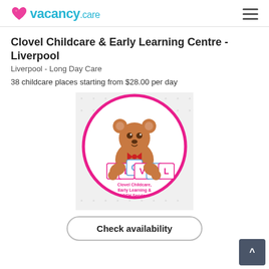vacancy.care
Clovel Childcare & Early Learning Centre - Liverpool
Liverpool - Long Day Care
38 childcare places starting from $28.00 per day
[Figure (logo): Clovel Childcare logo: a teddy bear holding letter blocks spelling CLOVEL inside a pink circle, with text 'Clovel Childcare, Early Learning & OOSH Services']
Check availability